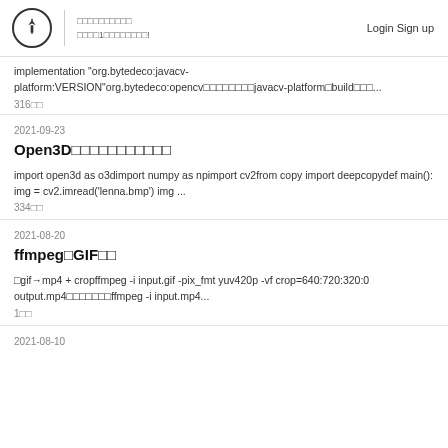Login Sign up
implementation "org.bytedeco:javacv-platform:VERSION"org.bytedeco:opencv□□□□□□□□javacv-platform□build□□□...
316□□
2021-09-23
Open3D□□□□□□□□□□□
import open3d as o3dimport numpy as npimport cv2from copy import deepcopydef main(): img = cv2.imread('lenna.bmp') img ...
334□□
2021-08-20
ffmpeg□GIF□□
□gif→mp4 + cropffmpeg -i input.gif -pix_fmt yuv420p -vf crop=640:720:320:0 output.mp4□□□□□□□ffmpeg -i input.mp4...
1□□
2021-08-10